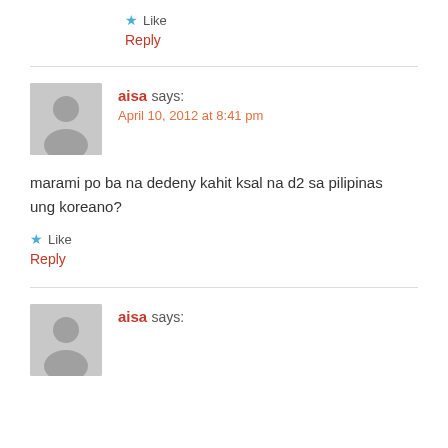★ Like
Reply
aisa says:
April 10, 2012 at 8:41 pm
marami po ba na dedeny kahit ksal na d2 sa pilipinas ung koreano?
★ Like
Reply
aisa says: